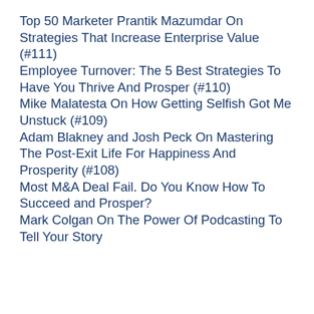Top 50 Marketer Prantik Mazumdar On Strategies That Increase Enterprise Value (#111)
Employee Turnover: The 5 Best Strategies To Have You Thrive And Prosper (#110)
Mike Malatesta On How Getting Selfish Got Me Unstuck (#109)
Adam Blakney and Josh Peck On Mastering The Post-Exit Life For Happiness And Prosperity (#108)
Most M&A Deal Fail. Do You Know How To Succeed and Prosper?
Mark Colgan On The Power Of Podcasting To Tell Your Story